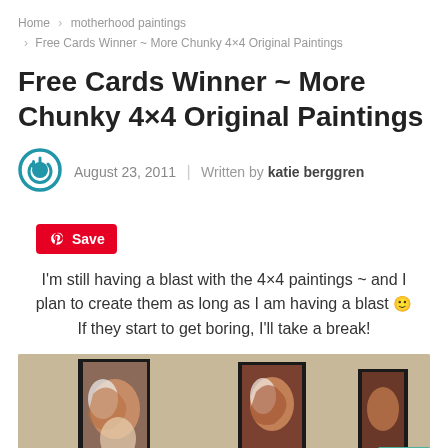Home > motherhood paintings > Free Cards Winner ~ More Chunky 4×4 Original Paintings
Free Cards Winner ~ More Chunky 4×4 Original Paintings
August 23, 2011 | Written by katie berggren
[Figure (other): Pinterest Save button]
I'm still having a blast with the 4×4 paintings ~ and I plan to create them as long as I am having a blast 🙂 If they start to get boring, I'll take a break!
[Figure (photo): Three chunky 4x4 original paintings of motherhood subjects displayed on a tan/beige wall, with a teal arrow button overlay in bottom right]